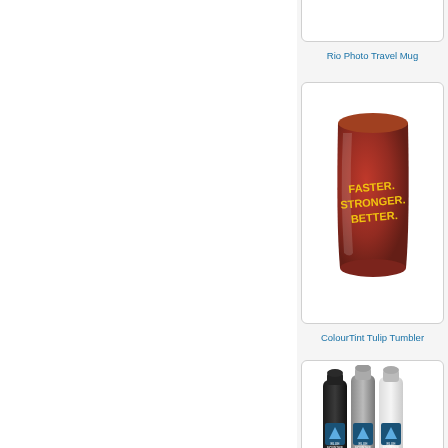[Figure (photo): Partially visible product card at the top of the right column]
Rio Photo Travel Mug
[Figure (photo): Red metallic tulip tumbler with yellow text reading FASTER. STRONGER. BETTER.]
ColourTint Tulip Tumbler
[Figure (photo): Three water bottles in black, grey/silver and white with blue mountain logo printed on them]